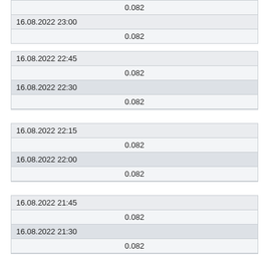| 0.082 |
| 16.08.2022 23:00 |
| 0.082 |
| 16.08.2022 22:45 |
| 0.082 |
| 16.08.2022 22:30 |
| 0.082 |
| 16.08.2022 22:15 |
| 0.082 |
| 16.08.2022 22:00 |
| 0.082 |
| 16.08.2022 21:45 |
| 0.082 |
| 16.08.2022 21:30 |
| 0.082 |